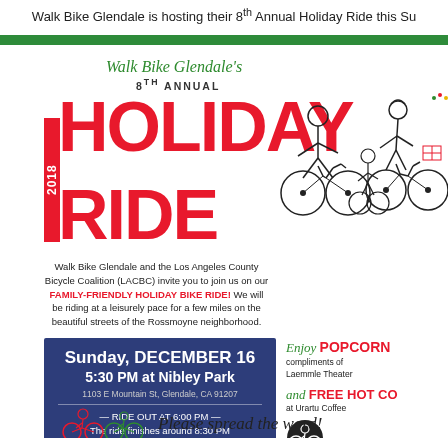Walk Bike Glendale is hosting their 8th Annual Holiday Ride this Su
[Figure (infographic): 2018 Walk Bike Glendale 8th Annual Holiday Ride promotional poster with large red HOLIDAY RIDE text, cyclist illustrations, event details, and sponsor info]
Walk Bike Glendale's 8TH ANNUAL HOLIDAY RIDE 2018
Walk Bike Glendale and the Los Angeles County Bicycle Coalition (LACBC) invite you to join us on our FAMILY-FRIENDLY HOLIDAY BIKE RIDE! We will be riding at a leisurely pace for a few miles on the beautiful streets of the Rossmoyne neighborhood.
Sunday, DECEMBER 16
5:30 PM at Nibley Park
1103 E Mountain St, Glendale, CA 91207
— RIDE OUT AT 6:00 PM —
The ride finishes around 8:30 PM
Enjoy POPCORN compliments of Laemmle Theater and FREE HOT CO at Urartu Coffee
Please spread the word!